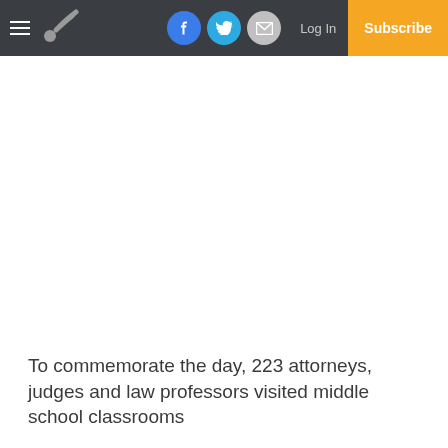Navigation bar with hamburger menu, logo, Facebook, Twitter, Email social buttons, Log In link, and Subscribe button
To commemorate the day, 223 attorneys, judges and law professors visited middle school classrooms